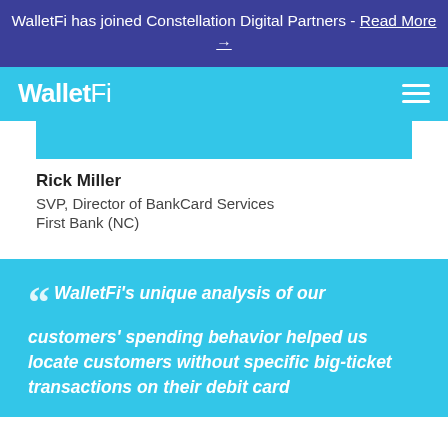WalletFi has joined Constellation Digital Partners - Read More →
[Figure (logo): WalletFi logo on cyan navigation bar with hamburger menu icon]
Rick Miller
SVP, Director of BankCard Services
First Bank (NC)
" WalletFi's unique analysis of our customers' spending behavior helped us locate customers without specific big-ticket transactions on their debit card